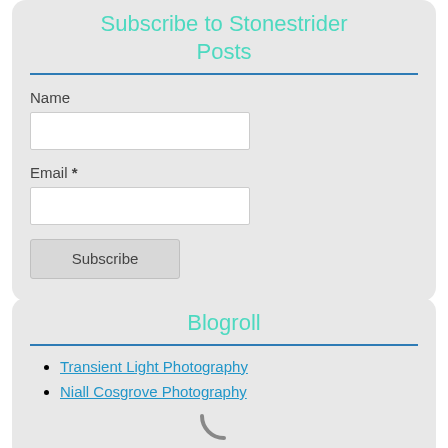Subscribe to Stonestrider Posts
Name
Email *
Subscribe
Blogroll
Transient Light Photography
Niall Cosgrove Photography